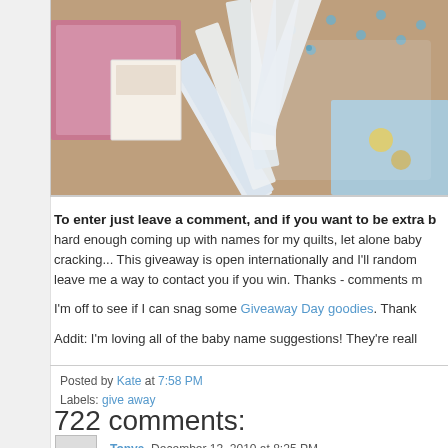[Figure (photo): Photo of fabric pieces and quilting materials arranged in a fan-like spread, with floral patterned fabrics in blue, pink, and other colors on a wooden surface]
To enter just leave a comment, and if you want to be extra b hard enough coming up with names for my quilts, let alone baby cracking... This giveaway is open internationally and I'll random leave me a way to contact you if you win. Thanks - comments m
I'm off to see if I can snag some Giveaway Day goodies. Thank
Addit: I'm loving all of the baby name suggestions! They're reall
Posted by Kate at 7:58 PM
Labels: give away
722 comments:
Tonya December 13, 2010 at 8:25 PM